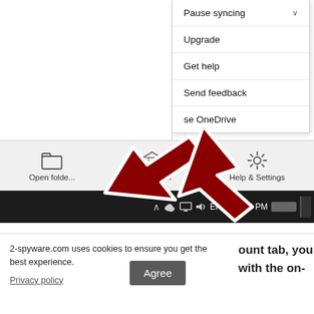[Figure (screenshot): Windows OneDrive context menu showing options: Pause syncing (with chevron), Upgrade, Get help, Send feedback, and partially visible 'se OneDrive'. Below is the OneDrive app bottom bar with Open folder, premium (diamond icon), and Help & Settings icons. Two large red arrows point to the OneDrive icon in the system tray area and the app bottom bar. Windows taskbar at bottom shows system tray with ENG, 12:14 PM.]
2-spyware.com uses cookies to ensure you get the best experience.
ount tab, you
with the on-
Privacy policy
Agree